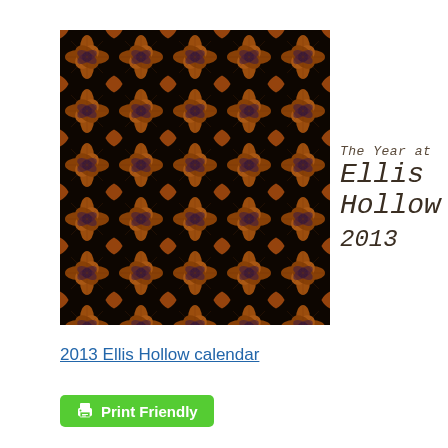[Figure (illustration): Decorative kaleidoscopic pattern with orange, brown, and dark purple star/flower shapes arranged in a tiled mosaic grid, forming the cover of the 2013 Ellis Hollow calendar.]
The Year at Ellis Hollow 2013
2013 Ellis Hollow calendar
[Figure (other): Green 'Print Friendly' button with a printer icon]